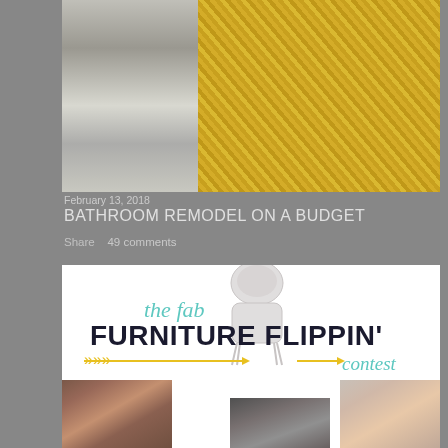[Figure (photo): Blog post thumbnail image showing a bathroom remodel with gray cabinet and yellow/gold patterned curtain or mat]
February 13, 2018
BATHROOM REMODEL ON A BUDGET
Share    49 comments
[Figure (logo): The Fab Furniture Flippin' Contest logo with teal cursive text and bold dark serif text, yellow arrow decorations, and a ghost chair illustration]
[Figure (photo): Three headshot photos of women who are part of the Furniture Flippin' contest]